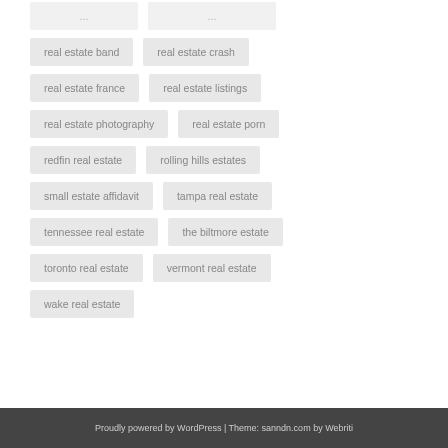real estate band
real estate crash
real estate france
real estate listings
real estate photography
real estate porn
redfin real estate
rolling hills estates
small estate affidavit
tampa real estate
tennessee real estate
the biltmore estate
toronto real estate
vermont real estate
wake real estate
Proudly powered by WordPress | Theme: sanndn.com by Webriti